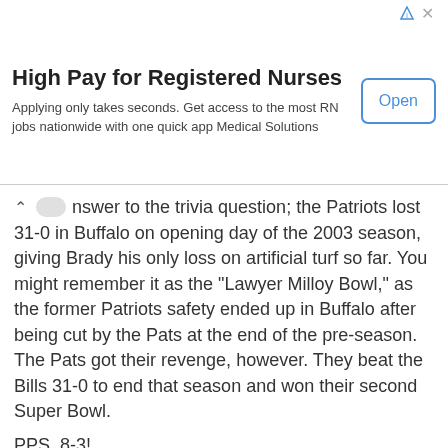[Figure (other): Advertisement banner: 'High Pay for Registered Nurses' with Open button. Applying only takes seconds. Get access to the most RN jobs nationwide with one quick app Medical Solutions]
swer to the trivia question; the Patriots lost 31-0 in Buffalo on opening day of the 2003 season, giving Brady his only loss on artificial turf so far. You might remember it as the "Lawyer Milloy Bowl," as the former Patriots safety ended up in Buffalo after being cut by the Pats at the end of the pre-season. The Pats got their revenge, however. They beat the Bills 31-0 to end that season and won their second Super Bowl.
PPS. 8-3!
Scott at 3:26 PM
No comments:
Post a Comment